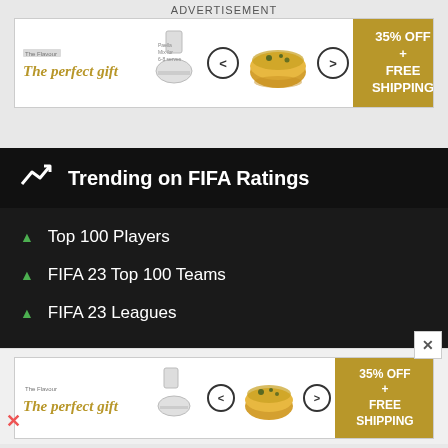ADVERTISEMENT
[Figure (infographic): Ad banner: The perfect gift, 35% OFF + FREE SHIPPING]
[Figure (infographic): Trending on FIFA Ratings section with items: Top 100 Players, FIFA 23 Top 100 Teams, FIFA 23 Leagues]
Top 100 Players
FIFA 23 Top 100 Teams
FIFA 23 Leagues
[Figure (infographic): Bottom ad banner: The perfect gift, 35% OFF + FREE SHIPPING]